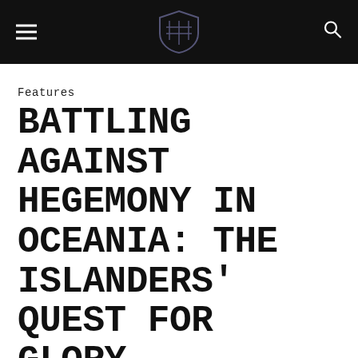Navigation bar with hamburger menu, shield logo, and search icon
Features
BATTLING AGAINST HEGEMONY IN OCEANIA: THE ISLANDERS' QUEST FOR GLORY
05/10/2016 by FEARGAL BRENNAN